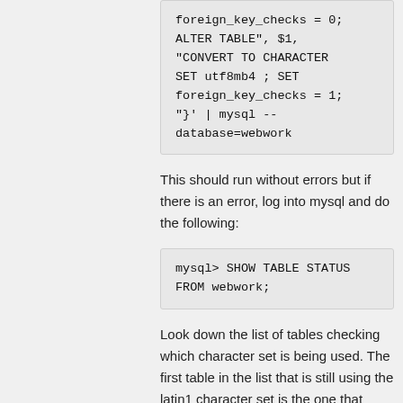[Figure (screenshot): Code block showing shell command: foreign_key_checks = 0; ALTER TABLE", $1, "CONVERT TO CHARACTER SET utf8mb4 ; SET foreign_key_checks = 1; "}' | mysql --database=webwork]
This should run without errors but if there is an error, log into mysql and do the following:
[Figure (screenshot): Code block showing: mysql> SHOW TABLE STATUS FROM webwork;]
Look down the list of tables checking which character set is being used. The first table in the list that is still using the latin1 character set is the one that caused the error. Look at it's description